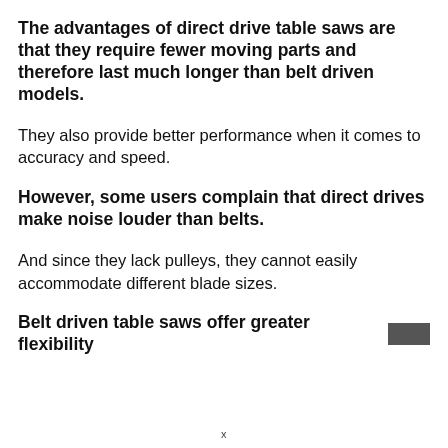The advantages of direct drive table saws are that they require fewer moving parts and therefore last much longer than belt driven models.
They also provide better performance when it comes to accuracy and speed.
However, some users complain that direct drives make noise louder than belts.
And since they lack pulleys, they cannot easily accommodate different blade sizes.
Belt driven table saws offer greater flexibility [redacted]